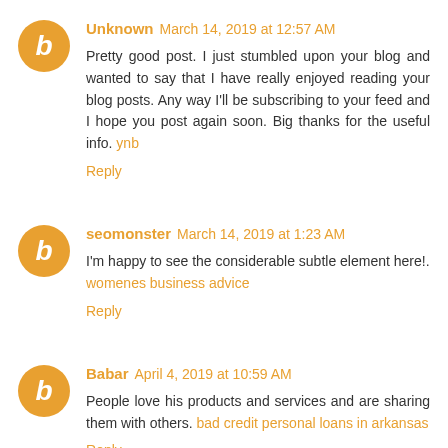Unknown March 14, 2019 at 12:57 AM
Pretty good post. I just stumbled upon your blog and wanted to say that I have really enjoyed reading your blog posts. Any way I'll be subscribing to your feed and I hope you post again soon. Big thanks for the useful info. ynb
Reply
seomonster March 14, 2019 at 1:23 AM
I'm happy to see the considerable subtle element here!. womenes business advice
Reply
Babar April 4, 2019 at 10:59 AM
People love his products and services and are sharing them with others. bad credit personal loans in arkansas
Reply